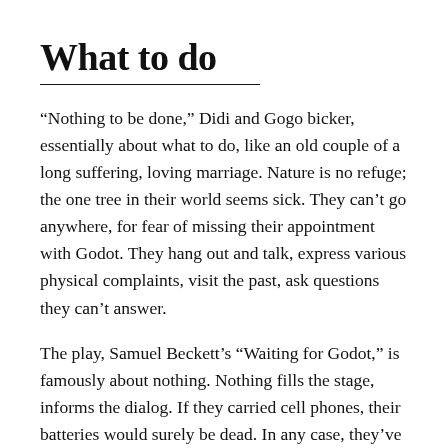What to do
“Nothing to be done,” Didi and Gogo bicker, essentially about what to do, like an old couple of a long suffering, loving marriage. Nature is no refuge; the one tree in their world seems sick. They can’t go anywhere, for fear of missing their appointment with Godot. They hang out and talk, express various physical complaints, visit the past, ask questions they can’t answer.
The play, Samuel Beckett’s “Waiting for Godot,” is famously about nothing. Nothing fills the stage, informs the dialog. If they carried cell phones, their batteries would surely be dead. In any case, they’ve no one to call, and no one to call them.
The two (often described as tramps, bums, or hoboes of